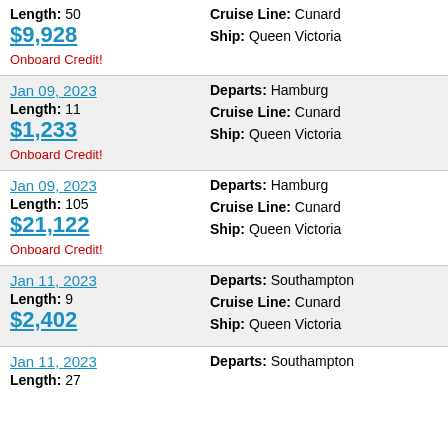Length: 50 | $9,928 | Onboard Credit! | Cruise Line: Cunard | Ship: Queen Victoria
Jan 09, 2023 | Length: 11 | $1,233 | Onboard Credit! | Departs: Hamburg | Cruise Line: Cunard | Ship: Queen Victoria
Jan 09, 2023 | Length: 105 | $21,122 | Onboard Credit! | Departs: Hamburg | Cruise Line: Cunard | Ship: Queen Victoria
Jan 11, 2023 | Length: 9 | $2,402 | Departs: Southampton | Cruise Line: Cunard | Ship: Queen Victoria
Jan 11, 2023 | Length: 27 | Departs: Southampton